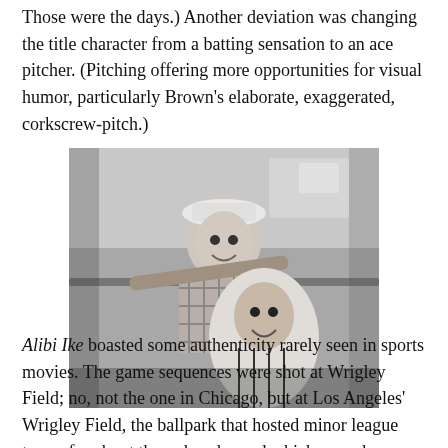Those were the days.) Another deviation was changing the title character from a batting sensation to an ace pitcher. (Pitching offering more opportunities for visual humor, particularly Brown's elaborate, exaggerated, corkscrew-pitch.)
[Figure (photo): Black and white photograph of a smiling woman in a plaid outfit and cap leaning over a man in a baseball uniform who is looking up at her with a grin.]
Alibi Ike boasted some authenticity rarely seen in sports movies. The game sequences were shot at Wrigley Field; no, not the one in Chicago, but at Los Angeles' Wrigley Field, the ballpark that hosted minor league teams for about three decades and which served as a backdrop to numerous films